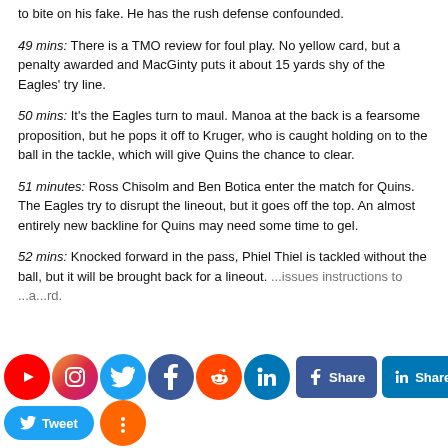to bite on his fake. He has the rush defense confounded.
49 mins: There is a TMO review for foul play. No yellow card, but a penalty awarded and MacGinty puts it about 15 yards shy of the Eagles' try line.
50 mins: It's the Eagles turn to maul. Manoa at the back is a fearsome proposition, but he pops it off to Kruger, who is caught holding on to the ball in the tackle, which will give Quins the chance to clear.
51 minutes: Ross Chisolm and Ben Botica enter the match for Quins. The Eagles try to disrupt the lineout, but it goes off the top. An almost entirely new backline for Quins may need some time to gel.
52 mins: Knocked forward in the pass, Phiel Thiel is tackled without the ball, but it will be brought back for a lineout. ...issues instructions to ...a...rd.
[Figure (other): Social media sharing bar with icons for YouTube, Instagram, Twitter, Facebook, Reddit, LinkedIn, Facebook Share button, LinkedIn Share button, Tweet button, and a share more button]